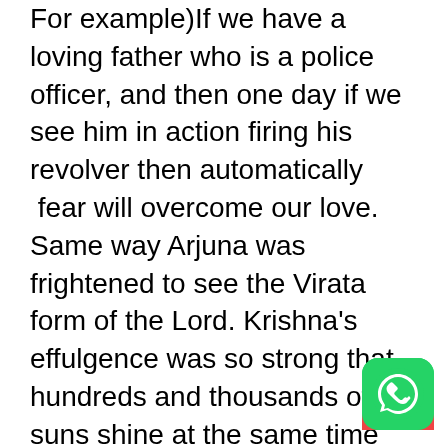For example)If we have a loving father who is a police officer, and then one day if we see him in action firing his revolver then automatically  fear will overcome our love. Same way Arjuna was frightened to see the Virata form of the Lord. Krishna's effulgence was so strong that hundreds and thousands of suns shine at the same time and Arjuna requests Krishna to come back to his Shyama Sundara form. Then Krishna comes back to his normal Shyama Sundara form. Then Arjuna says to Krishna I thought you were a normal human being, treated you as a friend, addressed you as O 'Krishna O' Madhava , O' Sakhae , had food with you together, slept together, in front of
[Figure (logo): WhatsApp green icon button in bottom right corner]